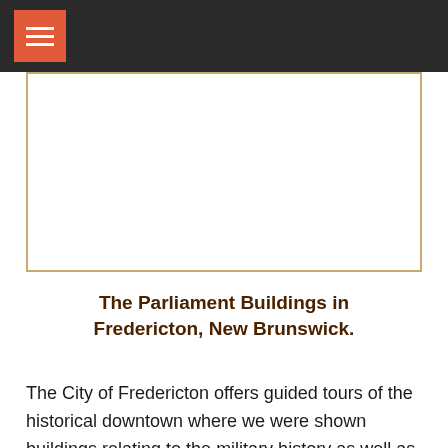[Figure (photo): White rectangular image placeholder with a tan/gold border, representing a photo of the Parliament Buildings in Fredericton, New Brunswick.]
The Parliament Buildings in Fredericton, New Brunswick.
The City of Fredericton offers guided tours of the historical downtown where we were shown buildings relating to the military history as well as the parliament buildings and other interesting spots. Our guide was very good and we learned some new things like all about the governors house and the